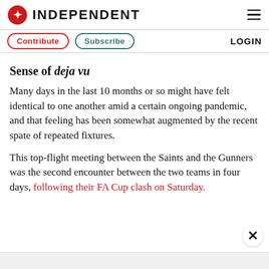INDEPENDENT
Contribute   Subscribe   LOGIN
Sense of deja vu
Many days in the last 10 months or so might have felt identical to one another amid a certain ongoing pandemic, and that feeling has been somewhat augmented by the recent spate of repeated fixtures.
This top-flight meeting between the Saints and the Gunners was the second encounter between the two teams in four days, following their FA Cup clash on Saturday.